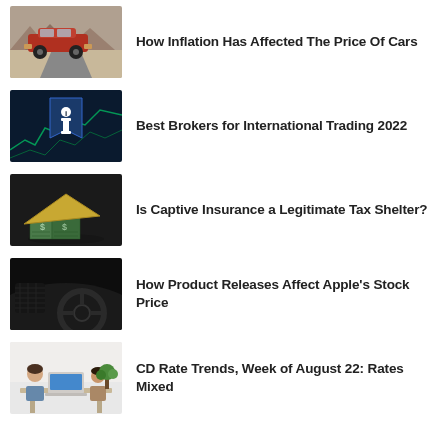[Figure (photo): Red vintage car on a desert road]
How Inflation Has Affected The Price Of Cars
[Figure (photo): Stock trading app or platform with letter i logo on dark background with green chart lines]
Best Brokers for International Trading 2022
[Figure (photo): Dollar bills folded into a house shape on dark background]
Is Captive Insurance a Legitimate Tax Shelter?
[Figure (photo): Close-up of luxury car interior dashboard in dark tones]
How Product Releases Affect Apple's Stock Price
[Figure (photo): Two people sitting at a table with a laptop, discussing finances]
CD Rate Trends, Week of August 22: Rates Mixed